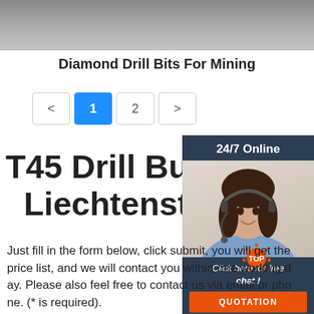[Figure (photo): Top portion of a product photo showing a diamond drill bit, gray background]
Diamond Drill Bits For Mining
[Figure (infographic): Pagination controls: < 1 2 > where 1 is highlighted in blue]
T45 Drill Button Bit - Liechtenstein
[Figure (photo): 24/7 Online chat widget showing a woman with a headset, with 'Click here for free chat!' text and an orange QUOTATION button]
Just fill in the form below, click submit, you will get the price list, and we will contact you within one working day. Please also feel free to contact us via email or phone. (* is required).